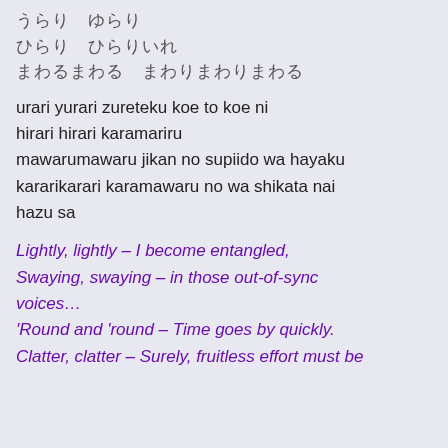Japanese lyrics lines (partial, top cut off)
urari yurari zureteku koe to koe ni
hirari hirari karamariru
mawarumawaru jikan no supiido wa hayaku
kararikarari karamawaru no wa shikata nai
hazu sa
Lightly, lightly – I become entangled,
Swaying, swaying – in those out-of-sync voices…
'Round and 'round – Time goes by quickly.
Clatter, clatter – Surely, fruitless effort must be